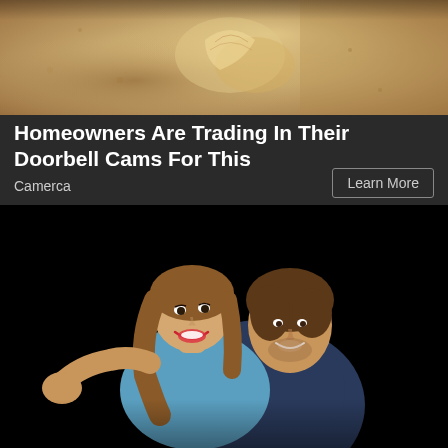[Figure (photo): Partial top image showing sandy/earthy textured surface with shell-like shapes, cropped advertisement image]
Homeowners Are Trading In Their Doorbell Cams For This
Camerca
Learn More
[Figure (photo): Photo of a smiling young couple on a dark/black background. A woman with long brown hair wearing a blue top is on the back of a man wearing a dark denim outfit. Both are smiling at the camera.]